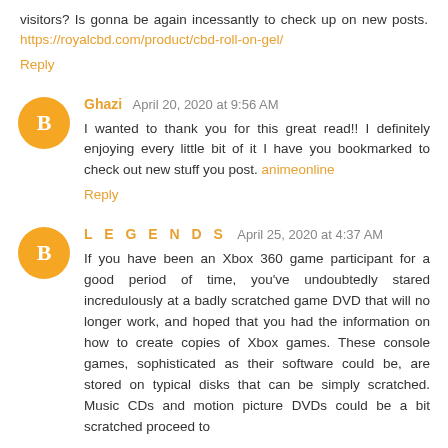visitors? Is gonna be again incessantly to check up on new posts. https://royalcbd.com/product/cbd-roll-on-gel/
Reply
Ghazi April 20, 2020 at 9:56 AM
I wanted to thank you for this great read!! I definitely enjoying every little bit of it I have you bookmarked to check out new stuff you post. animeonline
Reply
L E G E N D S April 25, 2020 at 4:37 AM
If you have been an Xbox 360 game participant for a good period of time, you've undoubtedly stared incredulously at a badly scratched game DVD that will no longer work, and hoped that you had the information on how to create copies of Xbox games. These console games, sophisticated as their software could be, are stored on typical disks that can be simply scratched. Music CDs and motion picture DVDs could be a bit scratched proceed to